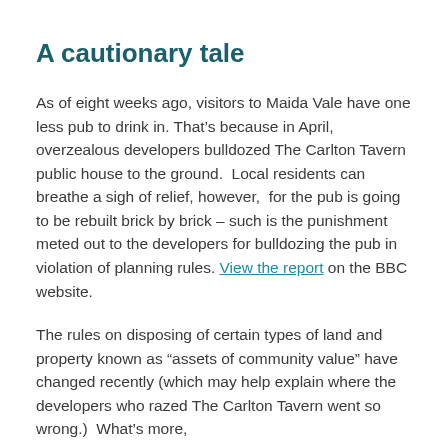A cautionary tale
As of eight weeks ago, visitors to Maida Vale have one less pub to drink in. That’s because in April, overzealous developers bulldozed The Carlton Tavern public house to the ground.  Local residents can breathe a sigh of relief, however,  for the pub is going to be rebuilt brick by brick – such is the punishment meted out to the developers for bulldozing the pub in violation of planning rules. View the report on the BBC website.
The rules on disposing of certain types of land and property known as “assets of community value” have changed recently (which may help explain where the developers who razed The Carlton Tavern went so wrong.)  What’s more,